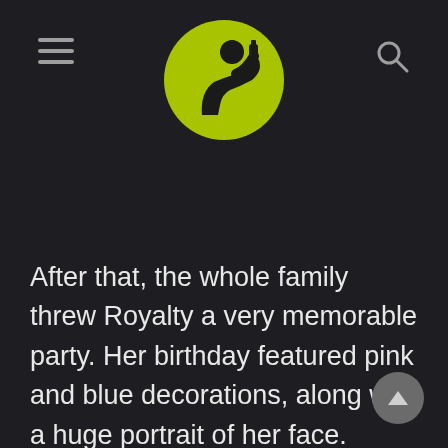[website header with hamburger menu, logo icon, and search icon]
[Figure (logo): Yellow-green circle logo with a black silhouette of a person drinking from a bottle]
After that, the whole family threw Royalty a very memorable party. Her birthday featured pink and blue decorations, along with a huge portrait of her face. Many children screamed, “Happy birthday to you, darling!” Royalty beamed as